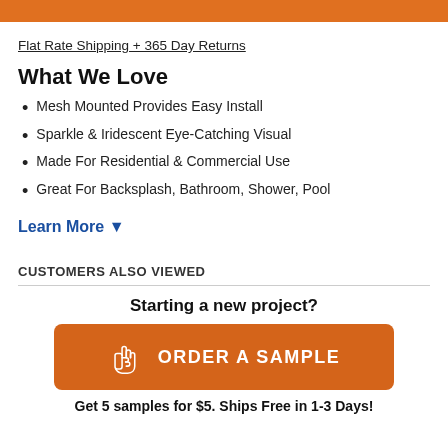Flat Rate Shipping + 365 Day Returns
What We Love
Mesh Mounted Provides Easy Install
Sparkle & Iridescent Eye-Catching Visual
Made For Residential & Commercial Use
Great For Backsplash, Bathroom, Shower, Pool
Learn More ▼
CUSTOMERS ALSO VIEWED
Starting a new project?
ORDER A SAMPLE
Get 5 samples for $5. Ships Free in 1-3 Days!